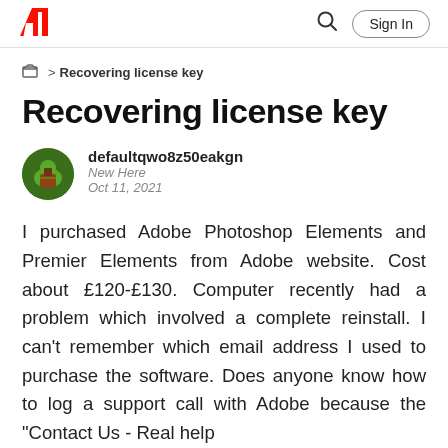Adobe | Sign In
> Recovering license key
Recovering license key
defaultqwo8z50eakgn
New Here
Oct 11, 2021
I purchased Adobe Photoshop Elements and Premier Elements from Adobe website. Cost about £120-£130. Computer recently had a problem which involved a complete reinstall. I can't remember which email address I used to purchase the software. Does anyone know how to log a support call with Adobe because the "Contact Us - Real help